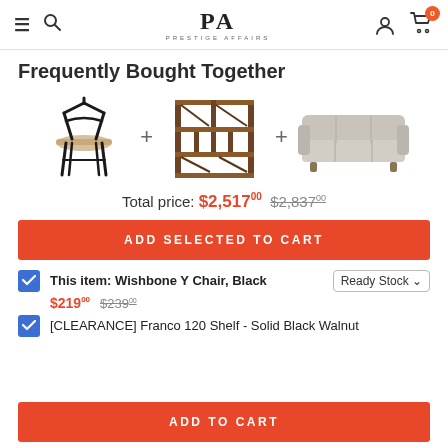PA PRESTIGE AFFAIRS — navigation header with menu, search, user, cart (0)
Frequently Bought Together
[Figure (illustration): Three furniture product images in a row: Wishbone Y Chair (black wooden chair), plus sign separator, Franco 120 Shelf (wooden tiered shelf unit), plus sign separator, a light grey three-seat sofa with wooden legs]
Total price: $2,517.00  $2,837.00
ADD SELECTED TO CART
This item: Wishbone Y Chair, Black  Ready Stock
$219.00  $239.00
[CLEARANCE] Franco 120 Shelf - Solid Black Walnut
ADD TO CART